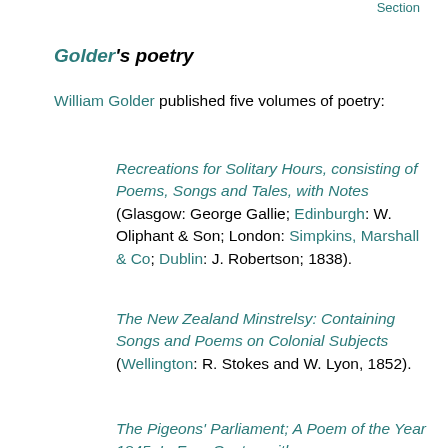Section
Golder's poetry
William Golder published five volumes of poetry:
Recreations for Solitary Hours, consisting of Poems, Songs and Tales, with Notes (Glasgow: George Gallie; Edinburgh: W. Oliphant & Son; London: Simpkins, Marshall & Co; Dublin: J. Robertson; 1838).
The New Zealand Minstrelsy: Containing Songs and Poems on Colonial Subjects (Wellington: R. Stokes and W. Lyon, 1852).
The Pigeons' Parliament; A Poem of the Year 1845. In Four Cantos with